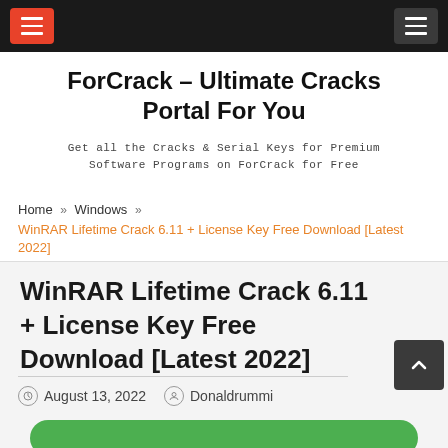[Navigation bar with hamburger menu icons]
ForCrack – Ultimate Cracks Portal For You
Get all the Cracks & Serial Keys for Premium Software Programs on ForCrack for Free
Home » Windows » WinRAR Lifetime Crack 6.11 + License Key Free Download [Latest 2022]
WinRAR Lifetime Crack 6.11 + License Key Free Download [Latest 2022]
August 13, 2022  Donaldrummi